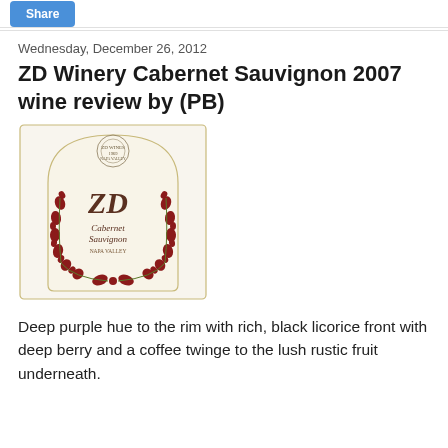Share
Wednesday, December 26, 2012
ZD Winery Cabernet Sauvignon 2007 wine review by (PB)
[Figure (photo): ZD Winery Cabernet Sauvignon wine bottle label with floral wreath design and ZD logo]
Deep purple hue to the rim with rich, black licorice front with deep berry and a coffee twinge to the lush rustic fruit underneath.